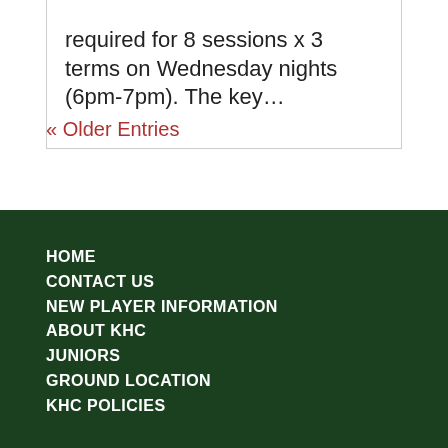required for 8 sessions x 3 terms on Wednesday nights (6pm-7pm). The key…
« Older Entries
HOME
CONTACT US
NEW PLAYER INFORMATION
ABOUT KHC
JUNIORS
GROUND LOCATION
KHC POLICIES